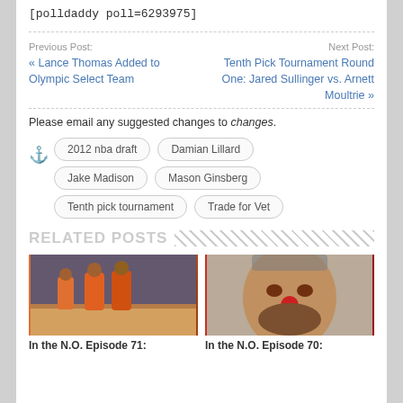[polldaddy poll=6293975]
Previous Post: « Lance Thomas Added to Olympic Select Team
Next Post: Tenth Pick Tournament Round One: Jared Sullinger vs. Arnett Moultrie »
Please email any suggested changes to changes.
2012 nba draft
Damian Lillard
Jake Madison
Mason Ginsberg
Tenth pick tournament
Trade for Vet
RELATED POSTS
[Figure (photo): Basketball players in orange uniforms on a court]
In the N.O. Episode 71:
[Figure (photo): Illustrated portrait of a basketball player with a red nose]
In the N.O. Episode 70: